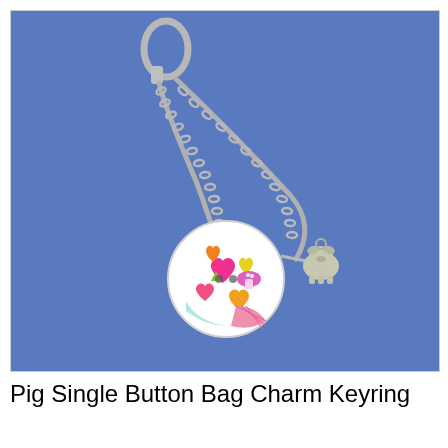[Figure (photo): A keyring bag charm consisting of a silver carabiner clip at the top, two silver chain strands hanging down to a round decorative button (white with colorful hearts, mushrooms, and patterns in pink, orange, yellow, green colors) and a small silver pig charm, against a blue background.]
Pig Single Button Bag Charm Keyring